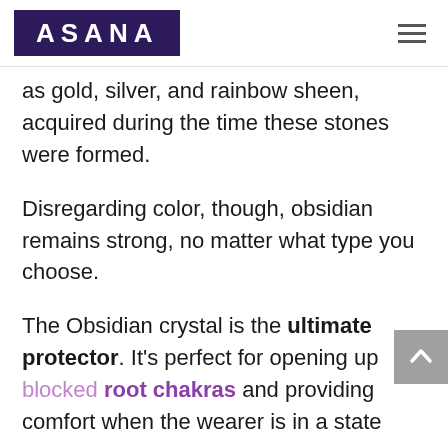ASANA
as gold, silver, and rainbow sheen, acquired during the time these stones were formed.
Disregarding color, though, obsidian remains strong, no matter what type you choose.
The Obsidian crystal is the ultimate protector. It's perfect for opening up blocked root chakras and providing comfort when the wearer is in a state